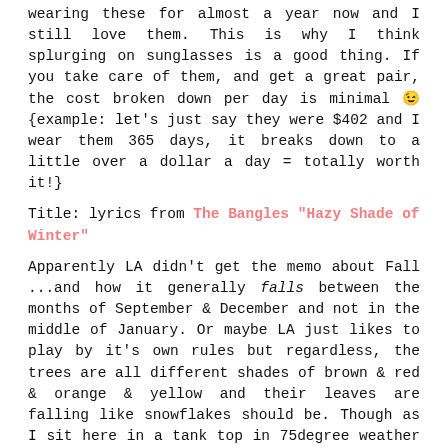wearing these for almost a year now and I still love them. This is why I think splurging on sunglasses is a good thing. If you take care of them, and get a great pair, the cost broken down per day is minimal 😉 {example: let's just say they were $402 and I wear them 365 days, it breaks down to a little over a dollar a day = totally worth it!}
Title: lyrics from The Bangles "Hazy Shade of Winter"
Apparently LA didn't get the memo about Fall ...and how it generally falls between the months of September & December and not in the middle of January. Or maybe LA just likes to play by it's own rules but regardless, the trees are all different shades of brown & red & orange & yellow and their leaves are falling like snowflakes should be. Though as I sit here in a tank top in 75degree weather {I wore this last Thurs}, I have to be honest when I say I'm glad it's leaves that are falling and not icy cold snow.
fall leaves, leaves falling, orange and brown leaves